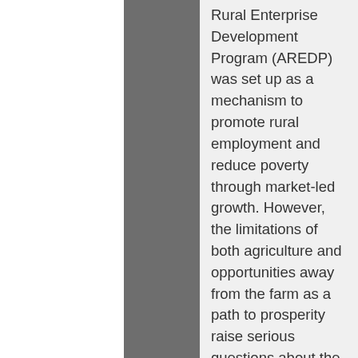Rural Enterprise Development Program (AREDP) was set up as a mechanism to promote rural employment and reduce poverty through market-led growth. However, the limitations of both agriculture and opportunities away from the farm as a path to prosperity raise serious questions about the